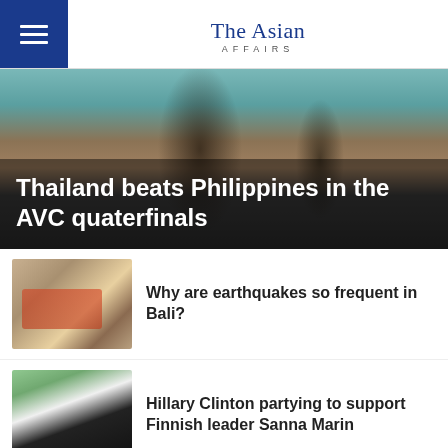The Asian AFFAIRS
Thailand beats Philippines in the AVC quaterfinals
[Figure (photo): Volleyball players' legs on a court, hero image for sports article about Thailand beating Philippines in AVC quarterfinals]
Why are earthquakes so frequent in Bali?
[Figure (photo): People at earthquake rubble/damage scene in Bali]
Hillary Clinton partying to support Finnish leader Sanna Marin
[Figure (photo): Woman speaking to microphones outdoors, likely Clinton]
Road rage and irresponsible driving are on the rise as Malaysian travel picks up
[Figure (photo): Man in car looking angry, road rage photo]